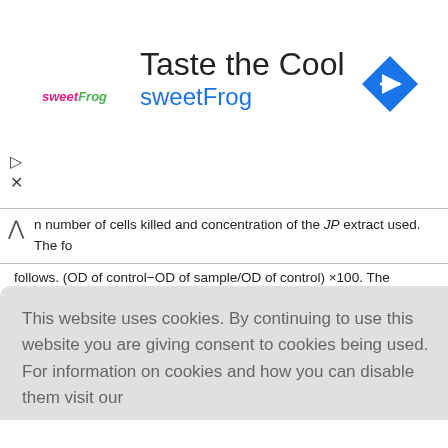[Figure (other): Advertisement banner for sweetFrog frozen yogurt featuring logo, tagline 'Taste the Cool', brand name in blue, navigation arrow icon, with expand/close controls]
number of cells killed and concentration of the JP extract used. The fo follows. (OD of control−OD of sample/OD of control) ×100. The inhibitory concent ascertained using GraphPad Prism 7 software (San Diego, California).[9]
Lactate dehydrogenase assay
into the me ecrosis.[10] cells/ml uti late, 100 µ s a fractio n and 100 plates whi ere collecte variations i late was L
[Figure (other): Cookie consent overlay with text 'This website uses cookies. By continuing to use this website you are giving consent to cookies being used. For information on cookies and how you can disable them visit our Privacy and Cookie Policy.' and red 'AGREE & PROCEED' button]